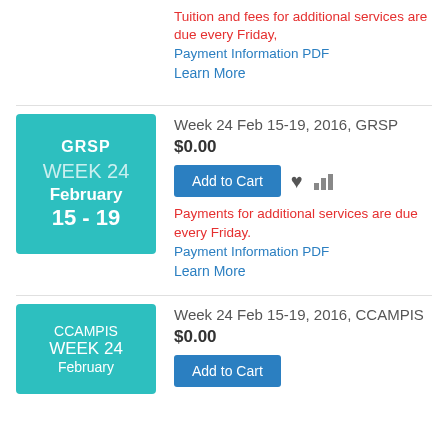Tuition and fees for additional services are due every Friday,
Payment Information PDF
Learn More
[Figure (infographic): Teal square badge showing GRSP WEEK 24 February 15-19]
Week 24 Feb 15-19, 2016, GRSP
$0.00
Add to Cart
Payments for additional services are due every Friday.
Payment Information PDF
Learn More
[Figure (infographic): Teal square badge showing CCAMPIS WEEK 24 February (partial)]
Week 24 Feb 15-19, 2016, CCAMPIS
$0.00
Add to Cart